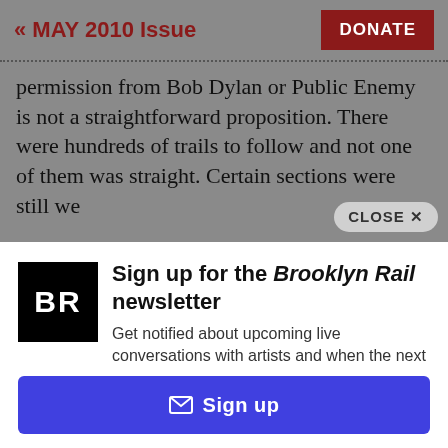« MAY 2010 Issue
permission from Bob Dylan or Public Enemy is not a straightforward proposition. There were hundreds of trails to follow and not one of them was straight. Certain sections were still we
[Figure (screenshot): CLOSE X button overlay in bottom right of gray section]
[Figure (logo): BR logo - black square with white BR letters]
Sign up for the Brooklyn Rail newsletter
Get notified about upcoming live conversations with artists and when the next issue of the Rail drops.
✉ Sign up